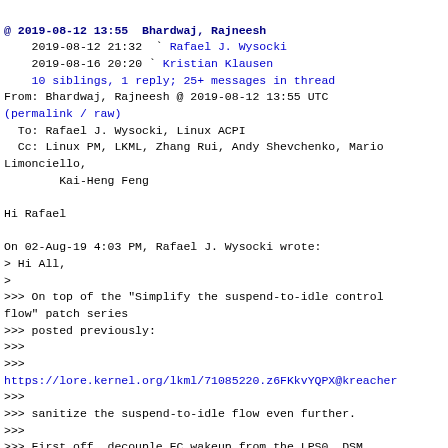@ 2019-08-12 13:55  Bhardwaj, Rajneesh
    2019-08-12 21:32    Rafael J. Wysocki
    2019-08-16 20:20   Kristian Klausen
    10 siblings, 1 reply; 25+ messages in thread
From: Bhardwaj, Rajneesh @ 2019-08-12 13:55 UTC
(permalink / raw)
  To: Rafael J. Wysocki, Linux ACPI
  Cc: Linux PM, LKML, Zhang Rui, Andy Shevchenko, Mario Limonciello,
        Kai-Heng Feng

Hi Rafael

On 02-Aug-19 4:03 PM, Rafael J. Wysocki wrote:
> Hi All,
>
>>> On top of the "Simplify the suspend-to-idle control flow" patch series
>>> posted previously:
>>>
>>>
https://lore.kernel.org/lkml/71085220.z6FKkvYQPX@kreacher
>>>
>>> sanitize the suspend-to-idle flow even further.
>>>
>>> First off, decouple EC wakeup from the LPS0 _DSM processing (patch 1).
>>>
>>> Next, reorder the code to invoke LPS0 _DSM Functions 5 and 6 in the